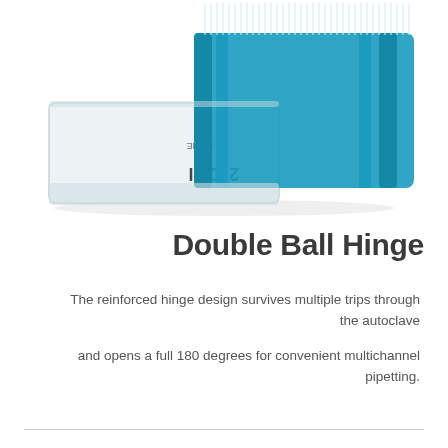[Figure (photo): A laboratory pipette tip box shown open with the lid slid partially off, revealing a rack of blue 200 µL pipette tips. The clear plastic tray is labeled '200 µl' and 'MLINE'. The tray appears to be sitting on a white background.]
Double Ball Hinge
The reinforced hinge design survives multiple trips through the autoclave
and opens a full 180 degrees for convenient multichannel pipetting.